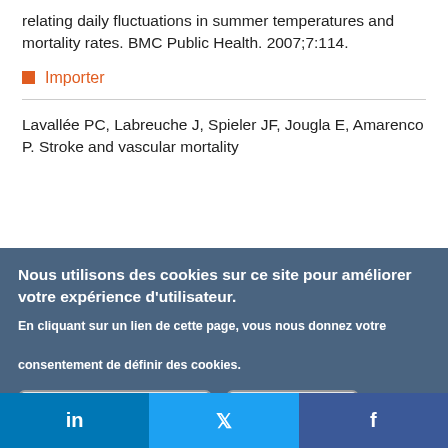relating daily fluctuations in summer temperatures and mortality rates. BMC Public Health. 2007;7:114.
Importer
Lavallée PC, Labreuche J, Spieler JF, Jougla E, Amarenco P. Stroke and vascular mortality
Nous utilisons des cookies sur ce site pour améliorer votre expérience d'utilisateur. En cliquant sur un lien de cette page, vous nous donnez votre consentement de définir des cookies.
Oui, je suis d'accord | Plus d'infos
in  f